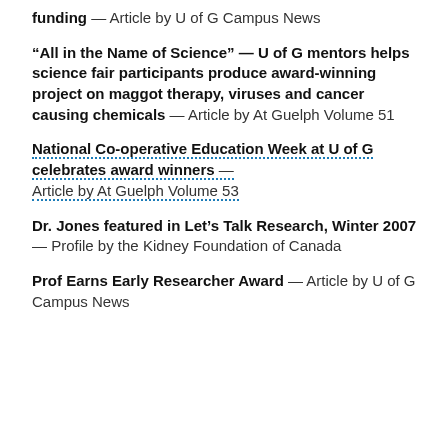funding — Article by U of G Campus News
“All in the Name of Science” — U of G mentors helps science fair participants produce award-winning project on maggot therapy, viruses and cancer causing chemicals — Article by At Guelph Volume 51
National Co-operative Education Week at U of G celebrates award winners — Article by At Guelph Volume 53
Dr. Jones featured in Let’s Talk Research, Winter 2007 — Profile by the Kidney Foundation of Canada
Prof Earns Early Researcher Award — Article by U of G Campus News